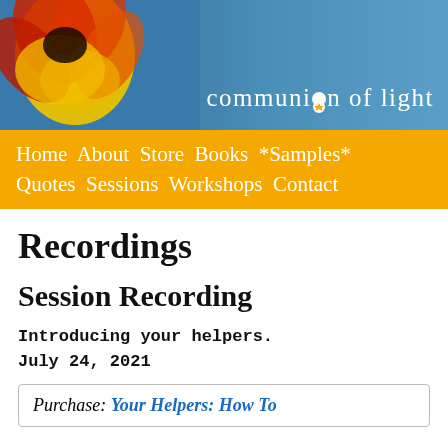[Figure (illustration): Website header banner with a red and yellow flower on the left and blue water background on the right, with text 'communion of light' in white on the right side]
Home  About  Store  Books  *Samples*  Quotes  Sessions  Workshops  Contact
Recordings
Session Recording
Introducing your helpers.
July 24, 2021
Purchase: Your Helpers: How To